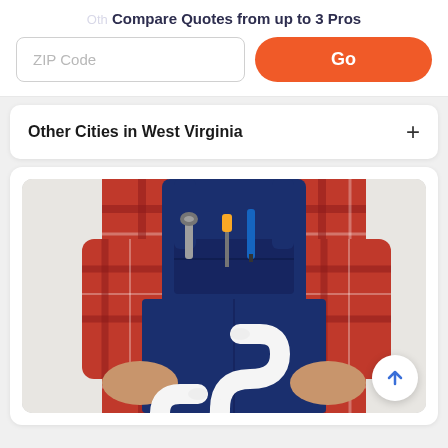Compare Quotes from up to 3 Pros
ZIP Code
Go
Other Cities in West Virginia
[Figure (photo): A plumber wearing blue overalls over a red plaid flannel shirt, holding a white PVC S-trap pipe fitting with both hands. Tools including a wrench and screwdriver are visible in the bib pocket. Photo is against a light gray background.]